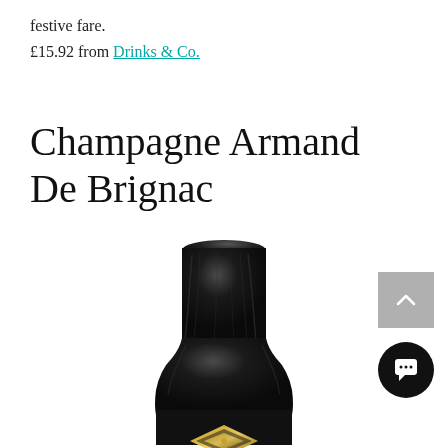festive fare.
£15.92 from Drinks & Co.
Champagne Armand De Brignac
[Figure (photo): Close-up of the top/neck of a Champagne Armand De Brignac bottle wrapped in black foil with a gold emblem visible at the bottom of the frame.]